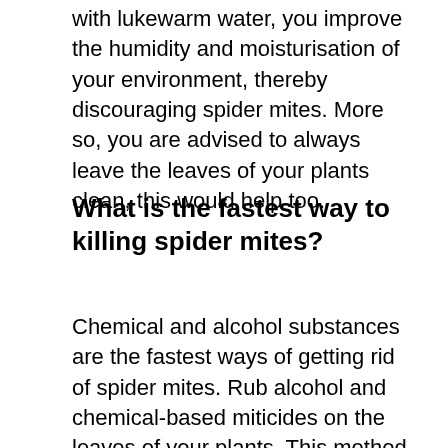with lukewarm water, you improve the humidity and moisturisation of your environment, thereby discouraging spider mites. More so, you are advised to always leave the leaves of your plants clean, this would help too.
What is the fastest way to killing spider mites?
Chemical and alcohol substances are the fastest ways of getting rid of spider mites. Rub alcohol and chemical-based miticides on the leaves of your plants. This method quickly kills spider mites at the egg and adult stage. But one thing with this method is that your plants are at risk of growth stunts due to chemical and/or alcohol